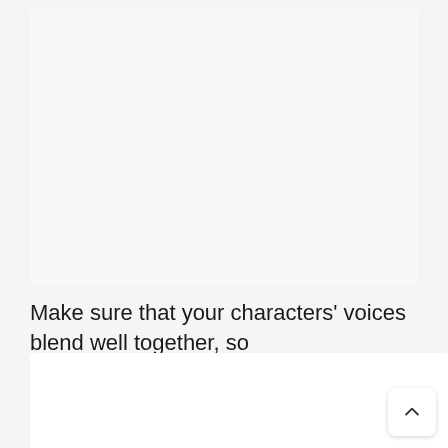[Figure (other): Light grey rectangular card area at the top of the page, empty content area]
Make sure that your characters' voices blend well together, so
[Figure (other): White card area at the bottom with a scroll-to-top button (chevron up arrow) in the bottom-right corner]